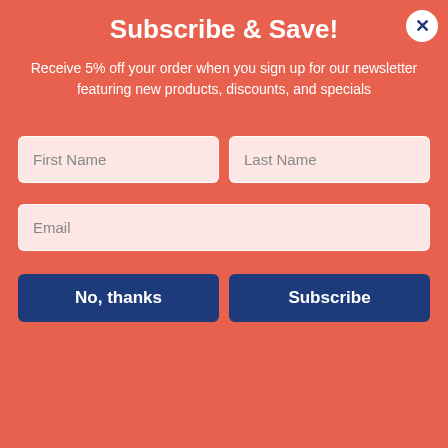Subscribe & Save!
Receive 5% off your order when you sign up for our newsletter featuring new products, discounts, and specials
First Name | Last Name | Email (form fields)
No, thanks | Subscribe (buttons)
Clorox Pro Clorox Clean-up, Fresh Scent, 128 oz Refill Bottle, 4/Carton
ITEM ID: CLO35420CT
$58.05 CT
Qty 1
Add to Cart
In Stock